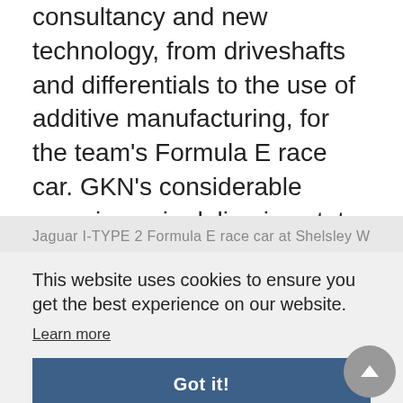consultancy and new technology, from driveshafts and differentials to the use of additive manufacturing, for the team's Formula E race car. GKN's considerable experience in delivering state-of-the-art electric vehicle systems means it will also advise on the development of the racer's all-electric powertrain.
Jaguar I-TYPE 2 Formula E race car at Shelsley W...
This website uses cookies to ensure you get the best experience on our website.
Learn more
Got it!
RELATED FEATURES